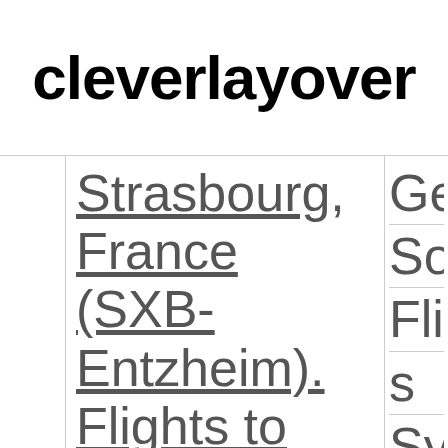cleverlayover
Strasbourg, France (SXB-Entzheim). Flights to Philipsburg, St. Maarten (SXM-
Ge|So Fli|s|Sy|A